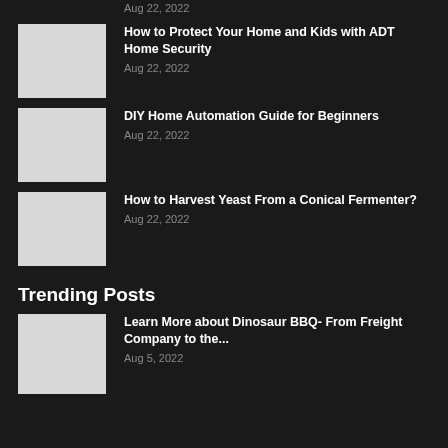Aug 22, 2022
How to Protect Your Home and Kids with ADT Home Security
Aug 22, 2022
DIY Home Automation Guide for Beginners
Aug 22, 2022
How to Harvest Yeast From a Conical Fermenter?
Aug 22, 2022
Trending Posts
Learn More about Dinosaur BBQ- From Freight Company to the...
Aug 5, 2022